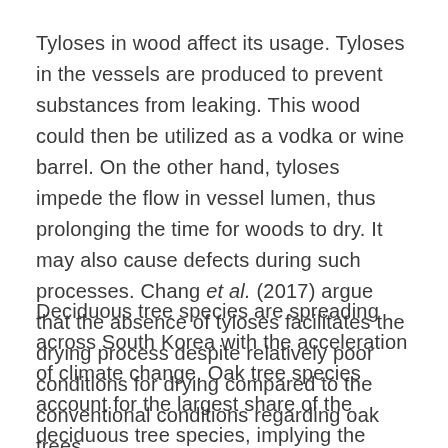Tyloses in wood affect its usage. Tyloses in the vessels are produced to prevent substances from leaking. This wood could then be utilized as a vodka or wine barrel. On the other hand, tyloses impede the flow in vessel lumen, thus prolonging the time for woods to dry. It may also cause defects during such processes. Chang et al. (2017) argue that the absence of tyloses facilitates the drying process despite relatively poor conditions for drying compared to the conventional conditions regarding oak trees.
Deciduous tree species are spreading across South Korea with the acceleration of climate change. Oak tree species account for the largest share of the deciduous tree species, implying the importance of identifying appropriate uses of the species. In this